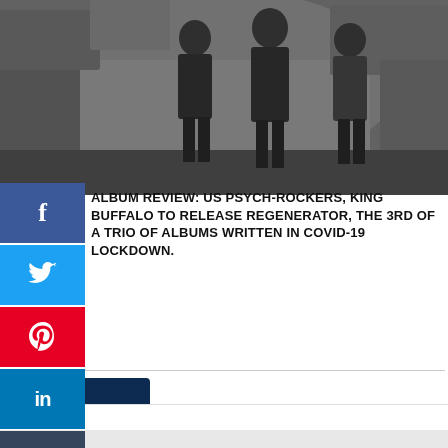[Figure (photo): Black and white photo of three people (band members of King Buffalo) standing outdoors against a rocky cliff background]
ALBUM REVIEW: US PSYCH-ROCKERS, KING BUFFALO TO RELEASE REGENERATOR, THE 3RD OF A TRIO OF ALBUMS WRITTEN IN COVID-19 LOCKDOWN.
[Figure (infographic): Wayfair.com advertisement: Online Home Store Sale! Shop for A Zillion Things Home across all styles at Wayfair! www.wayfair.com, with bedroom sets thumbnail and navigation arrow button]